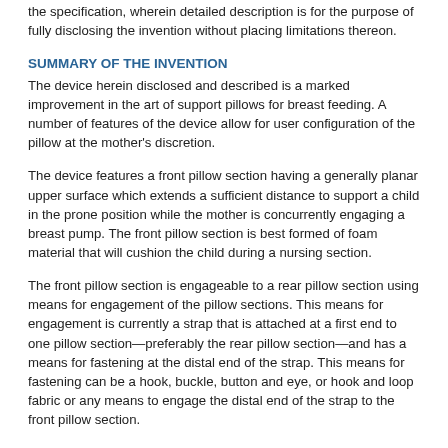the specification, wherein detailed description is for the purpose of fully disclosing the invention without placing limitations thereon.
SUMMARY OF THE INVENTION
The device herein disclosed and described is a marked improvement in the art of support pillows for breast feeding. A number of features of the device allow for user configuration of the pillow at the mother's discretion.
The device features a front pillow section having a generally planar upper surface which extends a sufficient distance to support a child in the prone position while the mother is concurrently engaging a breast pump. The front pillow section is best formed of foam material that will cushion the child during a nursing section.
The front pillow section is engageable to a rear pillow section using means for engagement of the pillow sections. This means for engagement is currently a strap that is attached at a first end to one pillow section—preferably the rear pillow section—and has a means for fastening at the distal end of the strap. This means for fastening can be a hook, buckle, button and eye, or hook and loop fabric or any means to engage the distal end of the strap to the front pillow section.
Experimentation has found that hook and loop fabric such as VELCRO is not always the best choice. It seems that the sound of the hook and loop fabric separating has a natural tendency to awaken the infant when the